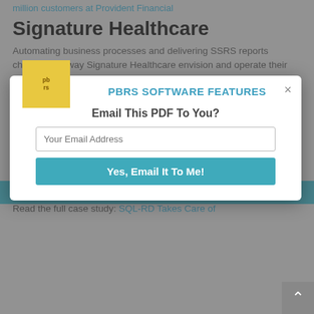million customers at Provident Financial
Signature Healthcare
Automating business processes and delivering SSRS reports changed the way Signature Healthcare envision and operate their enterprise while reaping major benefits like:
Attaining financial goals and streamlining regulatory duties
Saving 40 work hours each month
Slashing report production down to daily tasks instead of week-long chores
Timely reporting and analyses arriving at the desks of decision-makers
Read the full case study: SQL-RD Takes Care of
[Figure (screenshot): Modal dialog overlay with title 'PBRS Software Features', prompt 'Email This PDF To You?', an email input field, and a teal 'Yes, Email It To Me!' button. A yellow logo square is in the top-left corner of the modal. An X close button is in the top-right.]